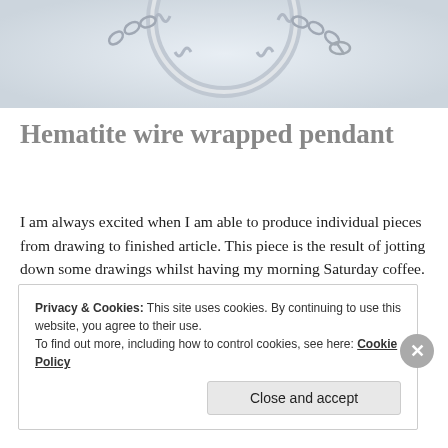[Figure (photo): Close-up photo of a hematite wire wrapped pendant jewelry piece, silver wire wound in a circular frame with a dark bead at top center, on white background.]
Hematite wire wrapped pendant
I am always excited when I am able to produce individual pieces from drawing to finished article. This piece is the result of jotting down some drawings whilst having my morning Saturday coffee. It is simple and yet elegant with … Continue reading
Privacy & Cookies: This site uses cookies. By continuing to use this website, you agree to their use.
To find out more, including how to control cookies, see here: Cookie Policy
Close and accept